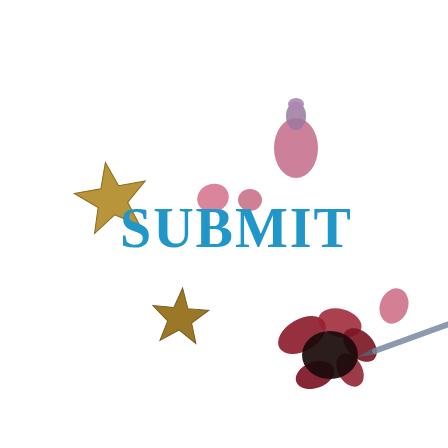[Figure (illustration): Decorative image with gold star stickers, pink and red flower petals, a dark ink spill, and a pen/pencil, scattered around the word SUBMIT in blue text on a white background.]